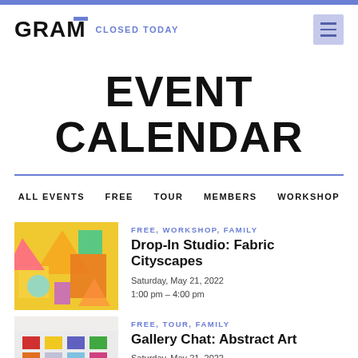GRAM   CLOSED TODAY
EVENT CALENDAR
ALL EVENTS   FREE   TOUR   MEMBERS   WORKSHOP
[Figure (photo): Colorful paper craft shapes including triangles and geometric forms on a wall]
FREE, WORKSHOP, FAMILY
Drop-In Studio: Fabric Cityscapes
Saturday, May 21, 2022
1:00 pm – 4:00 pm
[Figure (photo): Gallery visitors looking at abstract art on white walls with colorful squares]
FREE, TOUR, FAMILY
Gallery Chat: Abstract Art
Saturday, May 21, 2022